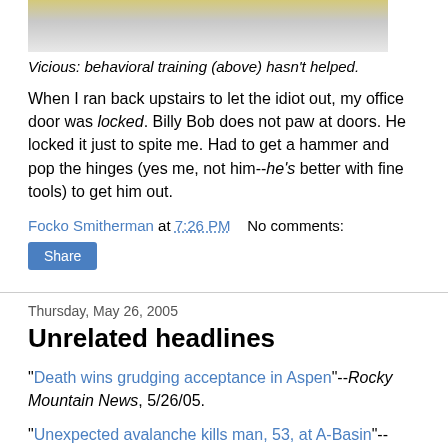[Figure (photo): Partial photo of a white bird (cockatoo) at top of page]
Vicious: behavioral training (above) hasn't helped.
When I ran back upstairs to let the idiot out, my office door was locked. Billy Bob does not paw at doors. He locked it just to spite me. Had to get a hammer and pop the hinges (yes me, not him--he's better with fine tools) to get him out.
Focko Smitherman at 7:26 PM   No comments:
Share
Thursday, May 26, 2005
Unrelated headlines
"Death wins grudging acceptance in Aspen"--Rocky Mountain News, 5/26/05.
"Unexpected avalanche kills man, 53, at A-Basin"--Denver Post, 5/31/05.